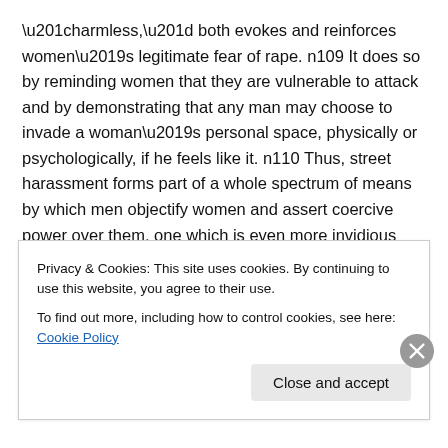“harmless,” both evokes and reinforces women’s legitimate fear of rape. n109 It does so by reminding women that they are vulnerable to attack and by demonstrating that any man may choose to invade a woman’s personal space, physically or psychologically, if he feels like it. n110 Thus, street harassment forms part of a whole spectrum of means by which men objectify women and assert coercive power over them, one which is even more invidious because it is so pervasive and appears, deceptively, to be trivial.
B. The Consequences of Street Harassment for Women
Privacy & Cookies: This site uses cookies. By continuing to use this website, you agree to their use.
To find out more, including how to control cookies, see here: Cookie Policy